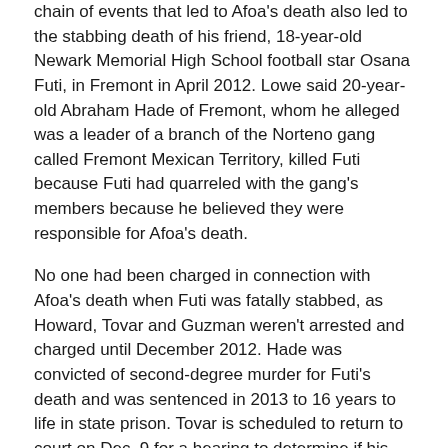chain of events that led to Afoa's death also led to the stabbing death of his friend, 18-year-old Newark Memorial High School football star Osana Futi, in Fremont in April 2012. Lowe said 20-year-old Abraham Hade of Fremont, whom he alleged was a leader of a branch of the Norteno gang called Fremont Mexican Territory, killed Futi because Futi had quarreled with the gang's members because he believed they were responsible for Afoa's death.
No one had been charged in connection with Afoa's death when Futi was fatally stabbed, as Howard, Tovar and Guzman weren't arrested and charged until December 2012. Hade was convicted of second-degree murder for Futi's death and was sentenced in 2013 to 16 years to life in state prison. Tovar is scheduled to return to court on Dec. 9 for a hearing to determine if his prior felony convictions were valid. His sentencing date will be set after that hearing.
Copyright © 2014 by Bay City News, Inc. — Republication, Rebroadcast or any other Reuse without the express